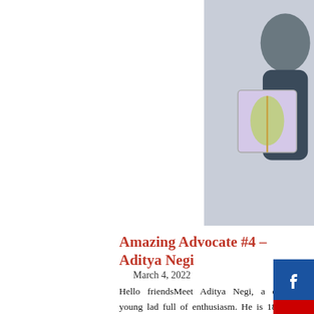[Figure (photo): Two people holding artwork: left person holds a colorful painted canvas with a feather design, right person in red shirt holds a decorated plate with a snowman face made of food items.]
Amazing Advocate #4 – Aditya Negi
March 4, 2022
Hello friendsMeet Aditya Negi, a dynamic young lad full of enthusiasm. He is 18 and is being home schooled.He is a boy always up to explore new things to broaden his horizons. He's independent and loves to work on his own and help